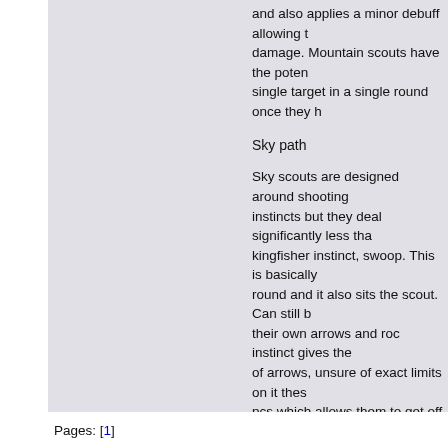and also applies a minor debuff allowing t... damage. Mountain scouts have the poten... single target in a single round once they h...
Sky path
Sky scouts are designed around shooting... instincts but they deal significantly less tha... kingfisher instinct, swoop. This is basically... round and it also sits the scout. Can still b... their own arrows and roc instinct gives the... of arrows, unsure of exact limits on it thes... pcs which allows them to get off around 1... good, but shoot is set up differently to me... consistent, hard plunks combined with an... gives hover. This is about 4 rounds of nob... use in terms of being combined with stone... zones such as lunitari, spire, shadows to ... advantage of.
Hope this guide is useful, and please poir... Or any cool tactics that deserve inclusion.
Pages: [1]